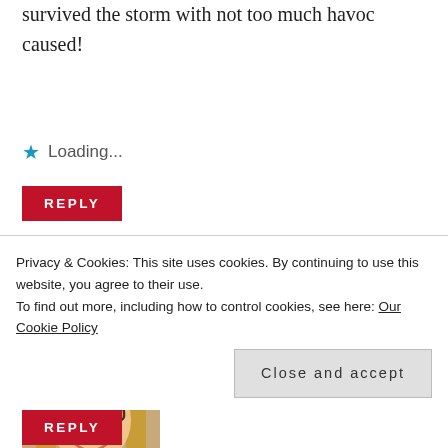survived the storm with not too much havoc caused!
Loading...
REPLY
kellie anderson says:
[Figure (photo): Profile photo of a smiling woman with glasses and blonde hair]
Thanks for your sweet comment, Camilla 🙂 I
bet one of
October 25, 2018 at 10:27 am
Privacy & Cookies: This site uses cookies. By continuing to use this website, you agree to their use.
To find out more, including how to control cookies, see here: Our Cookie Policy
Close and accept
REPLY